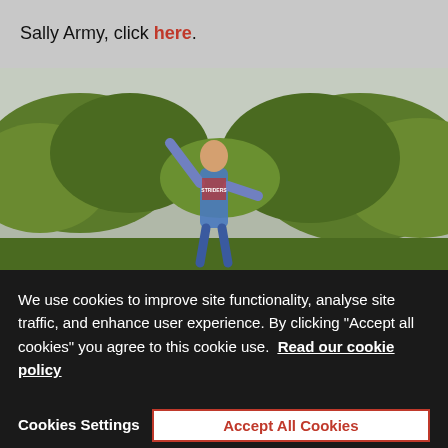Sally Army, click here.
[Figure (photo): A woman in a blue and red running vest (STRIDERS) celebrating with one arm raised, surrounded by green trees and a grey sky.]
We use cookies to improve site functionality, analyse site traffic, and enhance user experience. By clicking "Accept all cookies" you agree to this cookie use.  Read our cookie policy
Cookies Settings
Accept All Cookies